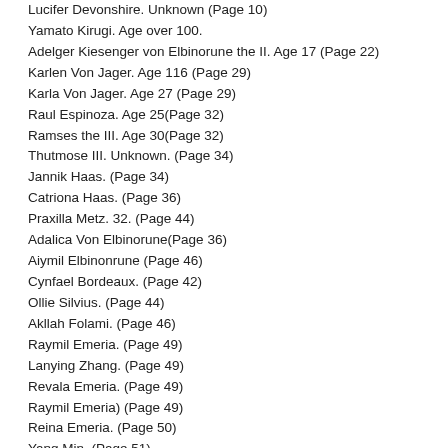Lucifer Devonshire. Unknown (Page 10)
Yamato Kirugi. Age over 100.
Adelger Kiesenger von Elbinorune the II. Age 17 (Page 22)
Karlen Von Jager. Age 116 (Page 29)
Karla Von Jager. Age 27 (Page 29)
Raul Espinoza. Age 25(Page 32)
Ramses the III. Age 30(Page 32)
Thutmose III. Unknown. (Page 34)
Jannik Haas. (Page 34)
Catriona Haas. (Page 36)
Praxilla Metz. 32. (Page 44)
Adalica Von Elbinorune(Page 36)
Aiymil Elbinonrune (Page 46)
Cynfael Bordeaux. (Page 42)
Ollie Silvius. (Page 44)
Akllah Folami. (Page 46)
Raymil Emeria. (Page 49)
Lanying Zhang. (Page 49)
Revala Emeria. (Page 49)
Raymil Emeria) (Page 49)
Reina Emeria. (Page 50)
Yang Min. (Page 51)
Miles Prise. (Page 52)
Chronov. (Page 54)
Cassius Prise(Page 55)
Saigon Derivil(Page 56)
Mirra1007